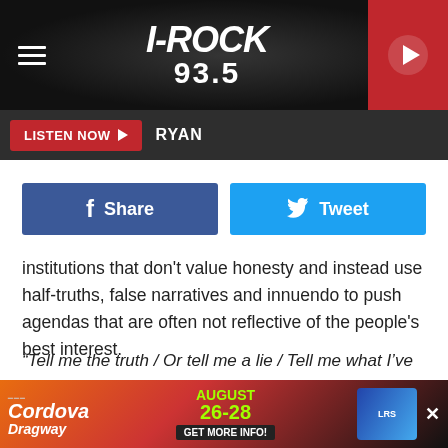[Figure (logo): I-Rock 93.5 radio station header banner with hamburger menu on left, I-Rock 93.5 logo in center, and red play button on right]
LISTEN NOW ▶  RYAN
[Figure (screenshot): Facebook Share button (blue) and Twitter Tweet button (light blue) side by side]
institutions that don't value honesty and instead use half-truths, false narratives and innuendo to push agendas that are often not reflective of the people's best interest.
“Tell me the truth / Or tell me a lie / Tell me what I’ve gotta say to get out of this room alive / Show me the answers / Or give me a clue / There’s not enough space in the miles between me and you / Oh no / Here we go / Here come the saints of violence and innuendo / So tell me truth / Are you
[Figure (infographic): Cordova Dragway advertisement banner: AUGUST 26-28 GET MORE INFO! with race car image]